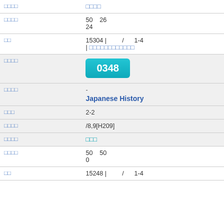| Label | Value |
| --- | --- |
| □□□□ | □□□□ |
| □□□□ | 50   26
24 |
| □□ | 15304 |         /      1-4
| □□□□□□□□□□□□ |
| □□□□ | 0348 |
| □□□□ | -
Japanese History |
| □□□ | 2-2 |
| □□□□ | /8,9[H209] |
| □□□□ | □□□ |
| □□□□ | 50   50
0 |
| □□ | 15248 |         /      1-4 |